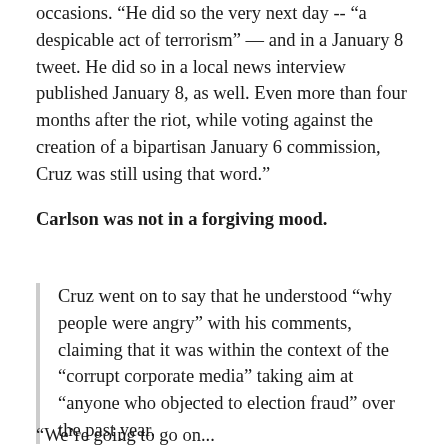occasions. “He did so the very next day -- “a despicable act of terrorism” — and in a January 8 tweet. He did so in a local news interview published January 8, as well. Even more than four months after the riot, while voting against the creation of a bipartisan January 6 commission, Cruz was still using that word.”
Carlson was not in a forgiving mood.
Cruz went on to say that he understood “why people were angry” with his comments, claiming that it was within the context of the “corrupt corporate media” taking aim at “anyone who objected to election fraud” over the past year.
“We’re going to go on...